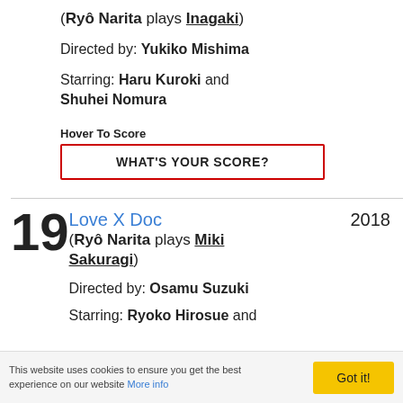(Ryô Narita plays Inagaki)
Directed by: Yukiko Mishima
Starring: Haru Kuroki and Shuhei Nomura
Hover To Score
WHAT'S YOUR SCORE?
19 Love X Doc 2018 (Ryô Narita plays Miki Sakuragi)
Directed by: Osamu Suzuki
Starring: Ryoko Hirosue and
This website uses cookies to ensure you get the best experience on our website More info Got it!